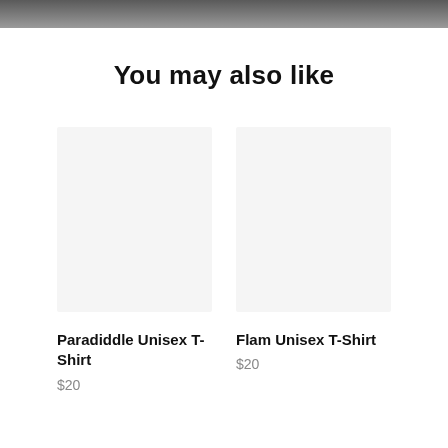You may also like
[Figure (other): Empty product image placeholder, light gray background]
Paradiddle Unisex T-Shirt
$20
[Figure (other): Empty product image placeholder, light gray background]
Flam Unisex T-Shirt
$20